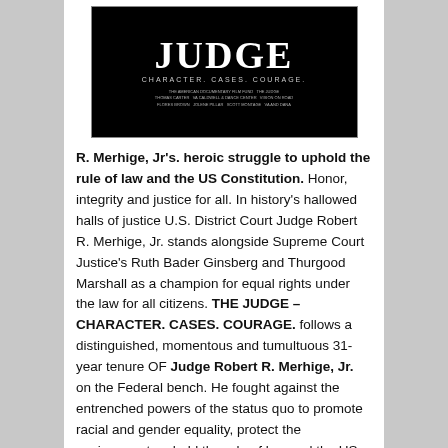[Figure (photo): Movie poster for 'THE JUDGE – CHARACTER. CASES. COURAGE.' with large white text on black background, subtitle text and production credits below]
R. Merhige, Jr's. heroic struggle to uphold the rule of law and the US Constitution. Honor, integrity and justice for all. In history's hallowed halls of justice U.S. District Court Judge Robert R. Merhige, Jr. stands alongside Supreme Court Justice's Ruth Bader Ginsberg and Thurgood Marshall as a champion for equal rights under the law for all citizens. THE JUDGE – CHARACTER. CASES. COURAGE. follows a distinguished, momentous and tumultuous 31-year tenure OF Judge Robert R. Merhige, Jr. on the Federal bench. He fought against the entrenched powers of the status quo to promote racial and gender equality, protect the environment, uphold the rule of law and the US Constitution. Most notable were the cases on mass school busing to bring about the desegregation of public schools in Richmond, VA, the former